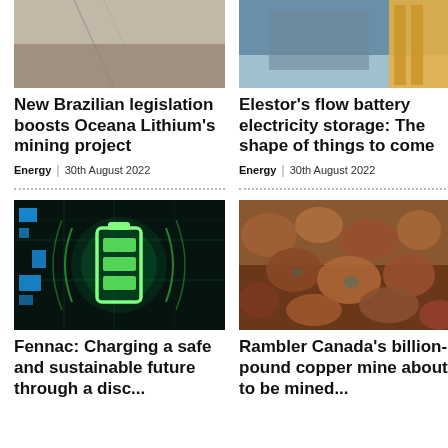[Figure (photo): Aerial view of a landscape with a road or path, brownish desert terrain]
[Figure (photo): Industrial facility interior with yellow machinery and metal structures]
New Brazilian legislation boosts Oceana Lithium's mining project
Energy | 30th August 2022
Elestor’s flow battery electricity storage: The shape of things to come
Energy | 30th August 2022
[Figure (photo): Digital illustration of a glowing green battery icon on dark background with circuit lines]
[Figure (photo): Close-up photo of copper ore chunks, reddish-brown rocky material]
Fennac: Charging a safe and sustainable future through a disc...
Rambler Canada’s billion-pound copper mine about to be mined...